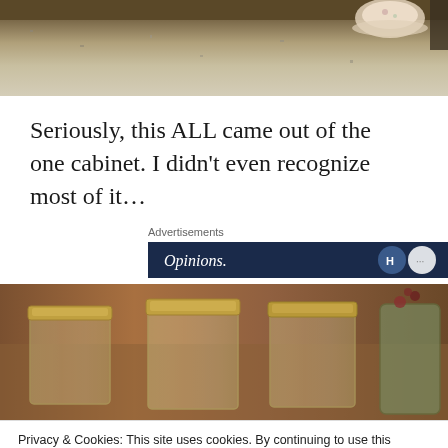[Figure (photo): Top portion of a photo showing a granite countertop with dishes/teacup visible in upper right corner]
Seriously, this ALL came out of the one cabinet. I didn't even recognize most of it…
Advertisements
[Figure (screenshot): Advertisement banner with dark navy background showing text 'Opinions.' and circular logo icons on the right]
[Figure (photo): Photo of glass jars with metal lids sitting on a countertop, with flowers visible in the background]
Privacy & Cookies: This site uses cookies. By continuing to use this website, you agree to their use.
To find out more, including how to control cookies, see here: Cookie Policy
Close and accept
[Figure (photo): Bottom portion of another photo showing decorative items on a surface]